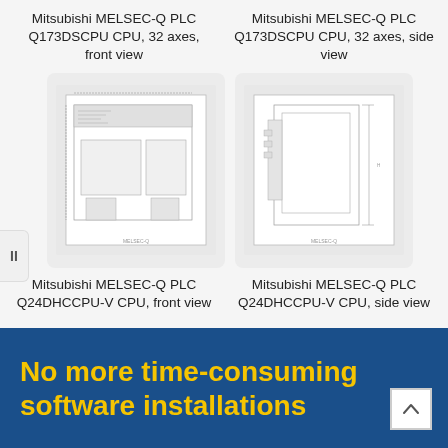Mitsubishi MELSEC-Q PLC Q173DSCPU CPU, 32 axes, front view
Mitsubishi MELSEC-Q PLC Q173DSCPU CPU, 32 axes, side view
[Figure (engineering-diagram): Technical engineering drawing of Mitsubishi MELSEC-Q PLC Q24DHCCPU-V CPU, front view]
[Figure (engineering-diagram): Technical engineering drawing of Mitsubishi MELSEC-Q PLC Q24DHCCPU-V CPU, side view]
Mitsubishi MELSEC-Q PLC Q24DHCCPU-V CPU, front view
Mitsubishi MELSEC-Q PLC Q24DHCCPU-V CPU, side view
No more time-consuming software installations